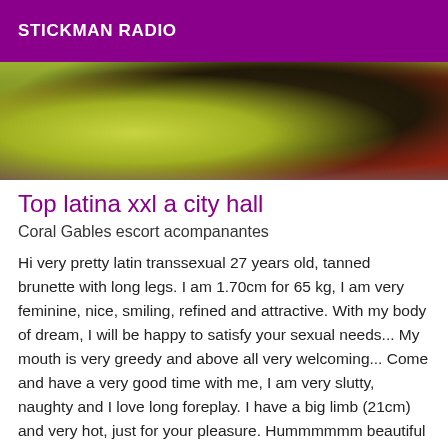STICKMAN RADIO
[Figure (photo): Photo of a person wearing a yellow/green outfit, brunette hair, lying or posed with a red background element visible on the right side]
Top latina xxl a city hall
Coral Gables escort acompanantes
Hi very pretty latin transsexual 27 years old, tanned brunette with long legs. I am 1.70cm for 65 kg, I am very feminine, nice, smiling, refined and attractive. With my body of dream, I will be happy to satisfy your sexual needs... My mouth is very greedy and above all very welcoming... Come and have a very good time with me, I am very slutty, naughty and I love long foreplay. I have a big limb (21cm) and very hot, just for your pleasure. Hummmmmm beautiful anaconda between my legs to taste without taboo. I offer you delicious moments of relaxation very hot sensual and naughty ... Personal and recent photos. I am now so speak softly. THANK YOU